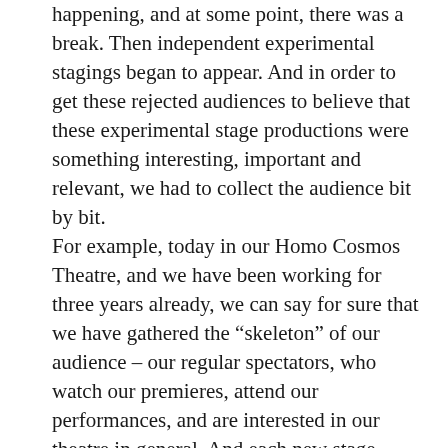happening, and at some point, there was a break. Then independent experimental stagings began to appear. And in order to get these rejected audiences to believe that these experimental stage productions were something interesting, important and relevant, we had to collect the audience bit by bit.
For example, today in our Homo Cosmos Theatre, and we have been working for three years already, we can say for sure that we have gathered the “skeleton” of our audience – our regular spectators, who watch our premieres, attend our performances, and are interested in our theatre in general. And each new stage show attracts new spectators. Accordingly, each new performance leads to a new audience. And naturally, our regular audience is also returning to us.